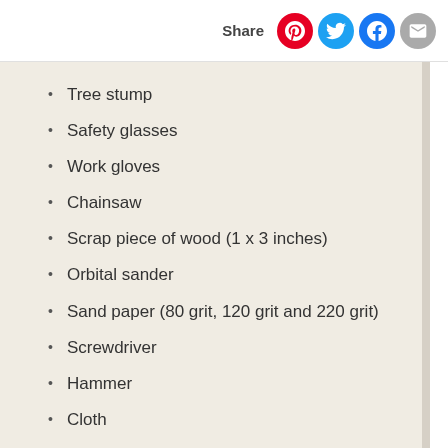Share
Tree stump
Safety glasses
Work gloves
Chainsaw
Scrap piece of wood (1 x 3 inches)
Orbital sander
Sand paper (80 grit, 120 grit and 220 grit)
Screwdriver
Hammer
Cloth